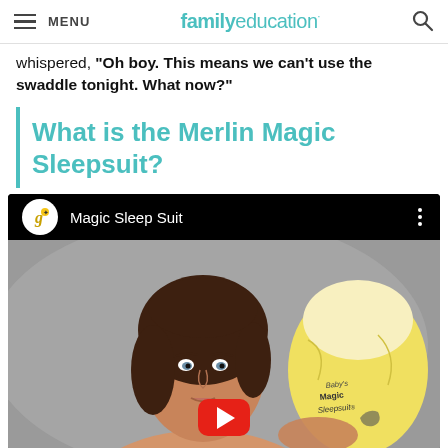MENU | familyeducation
whispered, "Oh boy. This means we can't use the swaddle tonight. What now?"
What is the Merlin Magic Sleepsuit?
[Figure (screenshot): YouTube video embed showing a woman holding a yellow Magic Sleep Suit baby garment with the video title 'Magic Sleep Suit' and a YouTube play button overlay]